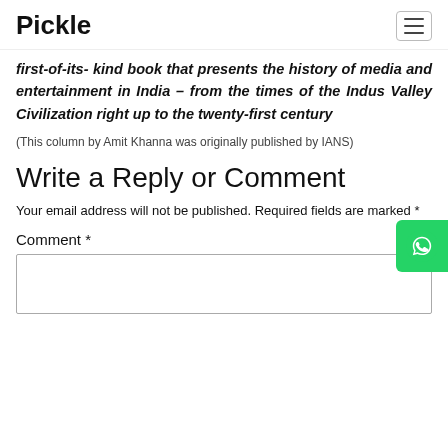Pickle
first-of-its- kind book that presents the history of media and entertainment in India – from the times of the Indus Valley Civilization right up to the twenty-first century
(This column by Amit Khanna was originally published by IANS)
Write a Reply or Comment
Your email address will not be published. Required fields are marked *
Comment *